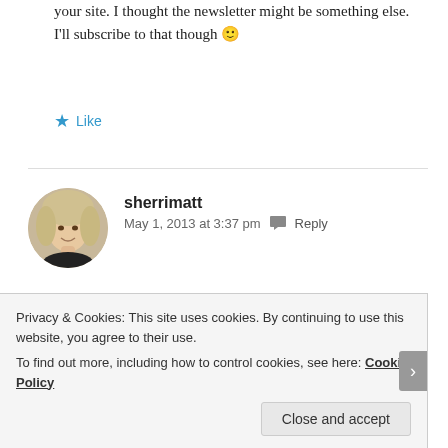your site. I thought the newsletter might be something else. I'll subscribe to that though 🙂
★ Like
[Figure (photo): Avatar photo of sherrimatt, a woman with blonde hair]
sherrimatt
May 1, 2013 at 3:37 pm  Reply
Hi Victor! Many thanks for visiting my blog, I'm glad you enjoyed my recent post! Your photos are stunning, I will be back 🙂
Privacy & Cookies: This site uses cookies. By continuing to use this website, you agree to their use.
To find out more, including how to control cookies, see here: Cookie Policy
Close and accept